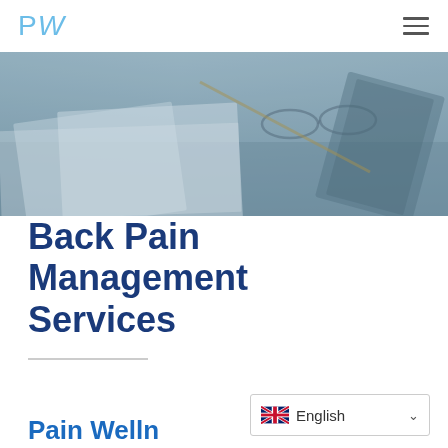PW
[Figure (photo): Blurred hero image of a desk with papers, glasses, and documents in blue-grey tones]
Back Pain Management Services
[Figure (infographic): Language selector showing UK flag and English text with dropdown chevron]
Partially visible blue text at bottom of page